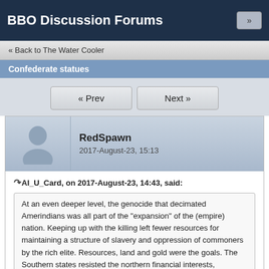BBO Discussion Forums
« Back to The Water Cooler
Confederate statues
« Prev   Next »
RedSpawn
2017-August-23, 15:13
AI_U_Card, on 2017-August-23, 14:43, said:
At an even deeper level, the genocide that decimated Amerindians was all part of the "expansion" of the (empire) nation. Keeping up with the killing left fewer resources for maintaining a structure of slavery and oppression of commoners by the rich elite. Resources, land and gold were the goals. The Southern states resisted the northern financial interests, especially their attempts to control and manipulate the cotton supplies and prices. Being the South's main source of revenue, this meant war. It is all about economy and money, after all. Killing and enslavement are just part of the process.